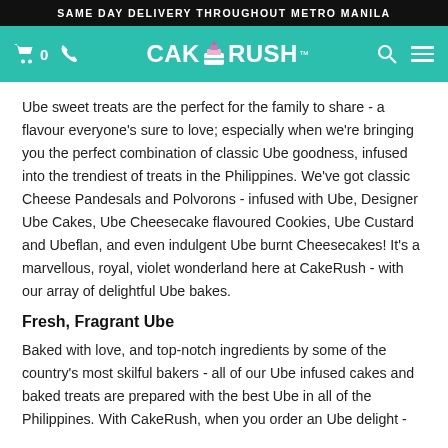SAME DAY DELIVERY THROUGHOUT METRO MANILA
[Figure (logo): CakeRush logo with teal navigation bar, cart icon showing 0, phone icon, CakeRush brand name with cake icon, search icon, and hamburger menu icon]
Ube sweet treats are the perfect for the family to share - a flavour everyone’s sure to love; especially when we’re bringing you the perfect combination of classic Ube goodness, infused into the trendiest of treats in the Philippines. We’ve got classic Cheese Pandesals and Polvorons - infused with Ube, Designer Ube Cakes, Ube Cheesecake flavoured Cookies, Ube Custard and Ubeflan, and even indulgent Ube burnt Cheesecakes! It’s a marvellous, royal, violet wonderland here at CakeRush - with our array of delightful Ube bakes.
Fresh, Fragrant Ube
Baked with love, and top-notch ingredients by some of the country’s most skilful bakers - all of our Ube infused cakes and baked treats are prepared with the best Ube in all of the Philippines. With CakeRush, when you order an Ube delight -